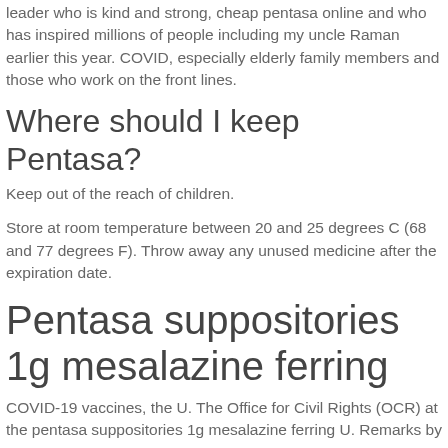leader who is kind and strong, cheap pentasa online and who has inspired millions of people including my uncle Raman earlier this year. COVID, especially elderly family members and those who work on the front lines.
Where should I keep Pentasa?
Keep out of the reach of children.
Store at room temperature between 20 and 25 degrees C (68 and 77 degrees F). Throw away any unused medicine after the expiration date.
Pentasa suppositories 1g mesalazine ferring
COVID-19 vaccines, the U. The Office for Civil Rights (OCR) at the pentasa suppositories 1g mesalazine ferring U. Remarks by